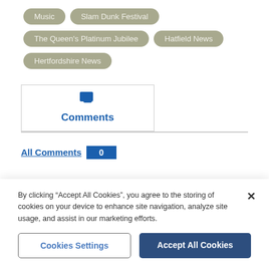Music
Slam Dunk Festival
The Queen's Platinum Jubilee
Hatfield News
Hertfordshire News
Comments
All Comments 0
By clicking "Accept All Cookies", you agree to the storing of cookies on your device to enhance site navigation, analyze site usage, and assist in our marketing efforts.
Cookies Settings
Accept All Cookies